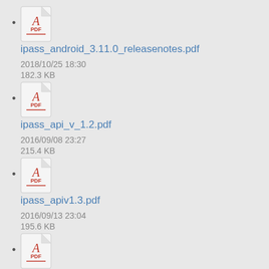ipass_android_3.11.0_releasenotes.pdf
2018/10/25 18:30
182.3 KB
ipass_api_v_1.2.pdf
2016/09/08 23:27
215.4 KB
ipass_apiv1.3.pdf
2016/09/13 23:04
195.6 KB
ipass_apiv1.4.pdf